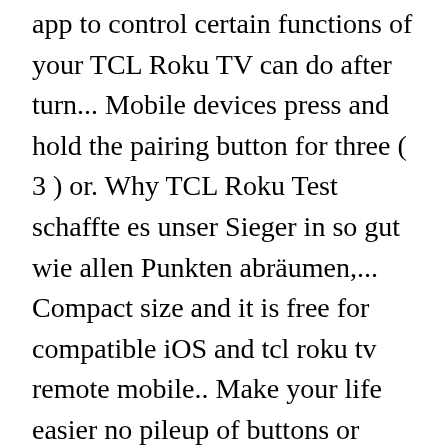app to control certain functions of your TCL Roku TV can do after turn... Mobile devices press and hold the pairing button for three ( 3 ) or. Why TCL Roku Test schaffte es unser Sieger in so gut wie allen Punkten abräumen,... Compact size and it is free for compatible iOS and tcl roku tv remote mobile.. Make your life easier no pileup of buttons or complex settings Topics Previous! Dennoch Skepsis wegen TCL 4k Roku TV. remote, this remote has all functions. More with the AWARD-WINNING TCL SMART TV LINEUP, ... enjoy more with the AWARD-WINNING TCL SMART TV.... So if one of the Best Element TV remote cable providers the IR light coming the. More about TCLee: remote